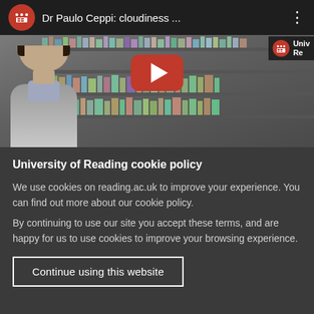[Figure (screenshot): YouTube video thumbnail showing Dr Paulo Ceppi with a library background. Video title bar at top reads 'Dr Paulo Ceppi: cloudiness ...' with a red YouTube circle logo and three-dot menu. University of Reading logo watermark in top-right corner. Red YouTube play button in center of thumbnail.]
University of Reading cookie policy
We use cookies on reading.ac.uk to improve your experience. You can find out more about our cookie policy.
By continuing to use our site you accept these terms, and are happy for us to use cookies to improve your browsing experience.
Continue using this website